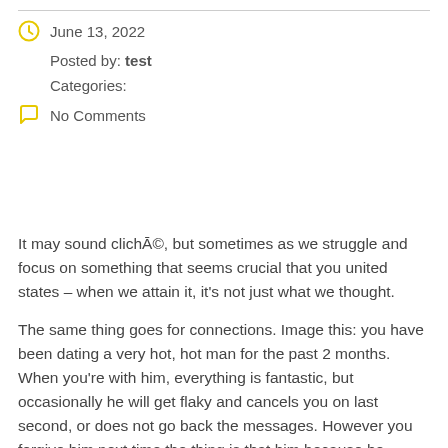June 13, 2022
Posted by: test
Categories:
No Comments
It may sound clichĀ©, but sometimes as we struggle and focus on something that seems crucial that you united states – when we attain it, it's not just what we thought.
The same thing goes for connections. Image this: you have been dating a very hot, hot man for the past 2 months. When you're with him, everything is fantastic, but occasionally he will get flaky and cancels you on last second, or does not go back the messages. However you forgive him next time the thing is that him because he allows you to swoon. Might give almost